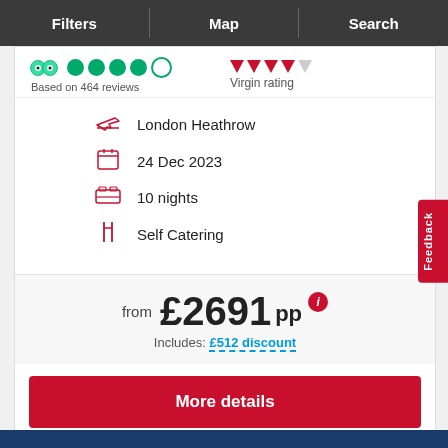Filters | Map | Search
Based on 464 reviews
Virgin rating
London Heathrow
24 Dec 2023
10 nights
Self Catering
from £2691 pp
Includes: £512 discount
More details